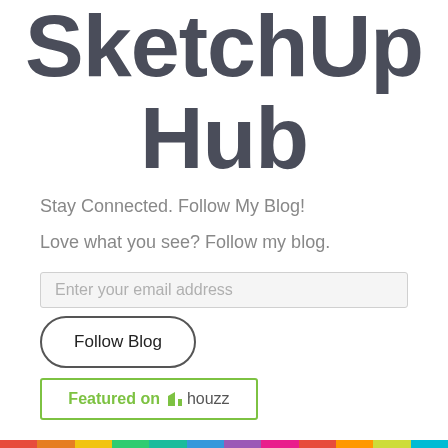SketchUp Hub
Stay Connected. Follow My Blog!
Love what you see? Follow my blog.
Enter your email address
[Figure (other): Follow Blog button - rounded pill-shaped button with dark border]
[Figure (logo): Featured on Houzz badge - green bordered rectangle with green bold text 'Featured on' and houzz logo]
[Figure (other): Multicolor horizontal bar at the bottom of the page]